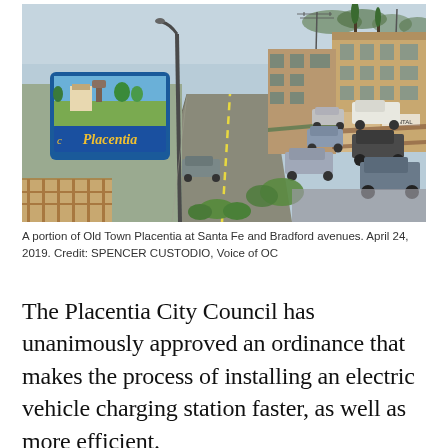[Figure (photo): Aerial/elevated view of Old Town Placentia street scene showing the Placentia welcome sign mural on the left and a commercial street with parked cars and brick storefronts stretching into the distance on the right.]
A portion of Old Town Placentia at Santa Fe and Bradford avenues. April 24, 2019. Credit: SPENCER CUSTODIO, Voice of OC
The Placentia City Council has unanimously approved an ordinance that makes the process of installing an electric vehicle charging station faster, as well as more efficient.